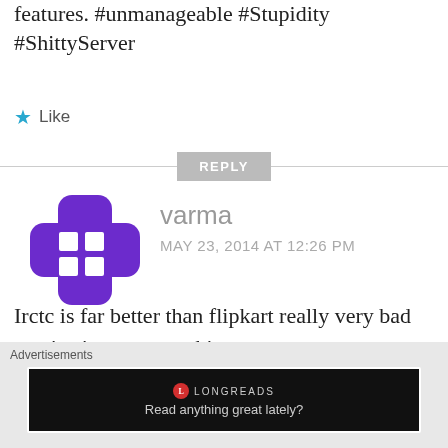features. #unmanageable #Stupidity #ShittyServer
★ Like
REPLY
[Figure (illustration): Purple avatar icon shaped like a cross/plus with a 2x2 grid of white squares in the center, representing a WordPress or generic user avatar.]
varma
MAY 23, 2014 AT 12:26 PM
Irctc is far better than flipkart really very bad service.it says something went wrong
Advertisements
[Figure (screenshot): Advertisement banner: black background with Longreads logo (red circle with L) and text 'Read anything great lately?']